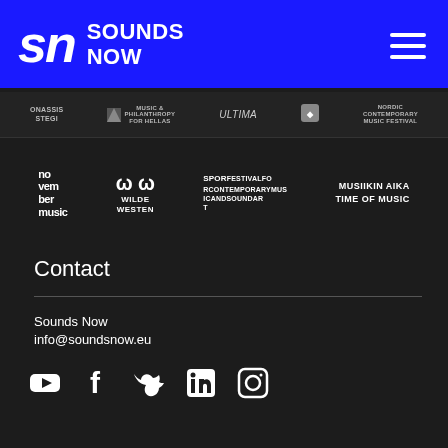[Figure (logo): Sounds Now logo with 'sn' stylized letters on blue background header, with hamburger menu icon]
[Figure (logo): Row of partner logos: Onassis Stegi, Music & Philanthropy for Hellas, Ultima, diamond logo, NCMF]
[Figure (logo): Row of partner logos: November Music, Wilde Westen, Sporfestivalfo Rcontemporarymus IcandSoundart, Musiikin Aika Time of Music]
Contact
Sounds Now
info@soundsnow.eu
[Figure (infographic): Social media icons row: YouTube, Facebook, Twitter, LinkedIn, Instagram]